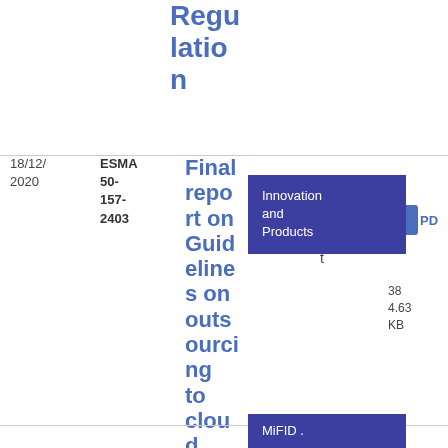Regulation
| Date | Reference | Title | Category | Document Type | Download |
| --- | --- | --- | --- | --- | --- |
| 18/12/2020 | ESMA 50-157-2403 | Final report on Guidelines on outsourcing to cloud service providers | Innovation and Products | Final Report | PDF 384.63 KB |
MiFID